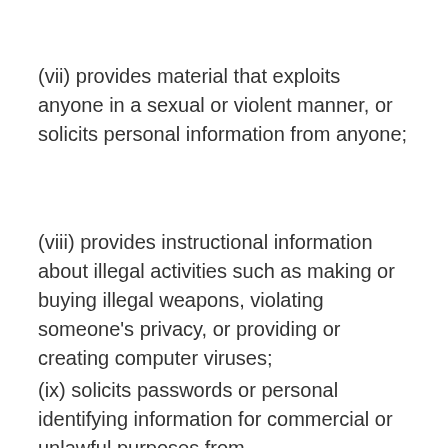(vii) provides material that exploits anyone in a sexual or violent manner, or solicits personal information from anyone;
(viii) provides instructional information about illegal activities such as making or buying illegal weapons, violating someone's privacy, or providing or creating computer viruses;
(ix) solicits passwords or personal identifying information for commercial or unlawful purposes from